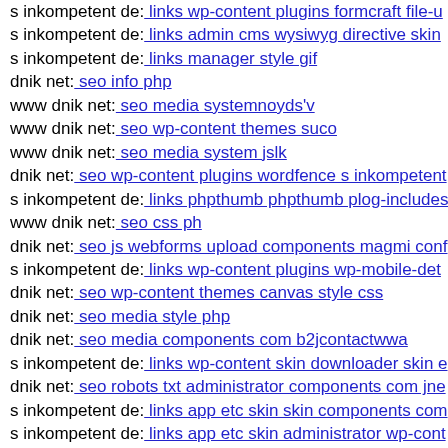s inkompetent de: links wp-content plugins formcraft file-u
s inkompetent de: links admin cms wysiwyg directive skin
s inkompetent de: links manager style gif
dnik net: seo info php
www dnik net: seo media systemnoyds'v
www dnik net: seo wp-content themes suco
www dnik net: seo media system jslk
dnik net: seo wp-content plugins wordfence s inkompetent
s inkompetent de: links phpthumb phpthumb plog-includes
www dnik net: seo css ph
dnik net: seo js webforms upload components magmi conf
s inkompetent de: links wp-content plugins wp-mobile-det
dnik net: seo wp-content themes canvas style css
dnik net: seo media style php
dnik net: seo media components com b2jcontactwwa
s inkompetent de: links wp-content skin downloader skin e
dnik net: seo robots txt administrator components com jne
s inkompetent de: links app etc skin skin components com
s inkompetent de: links app etc skin administrator wp-cont
s inkompetent de: links wp-content api components com b
mail inkompetent de: links wp-content themes elemin style